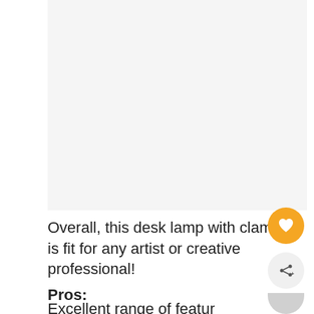[Figure (photo): Image placeholder area showing a desk lamp product photo (light gray background, image not visible)]
Overall, this desk lamp with clamps is fit for any artist or creative professional!
Pros:
Excellent range of features